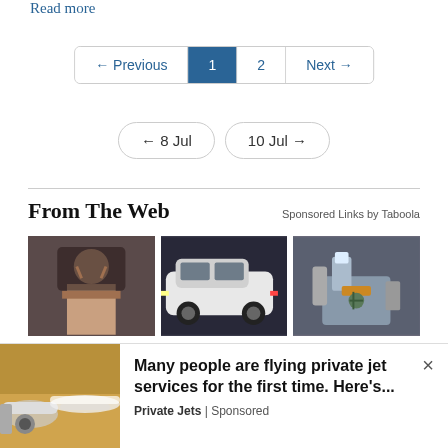Read more
← Previous  1  2  Next →
← 8 Jul   10 Jul →
From The Web
Sponsored Links by Taboola
[Figure (photo): Three thumbnail images side by side: person with head in hands, white SUV at auto show, mechanic pouring oil into engine]
[Figure (photo): Advertisement banner: private jet image on left, text 'Many people are flying private jet services for the first time. Here's...' with source 'Private Jets | Sponsored']